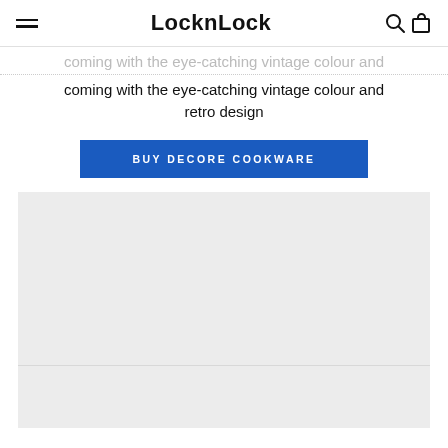LocknLock
coming with the eye-catching vintage colour and retro design
BUY DECORE COOKWARE
[Figure (photo): Large light grey placeholder image area for product photo]
[Figure (photo): Second light grey placeholder image area partially visible at bottom]